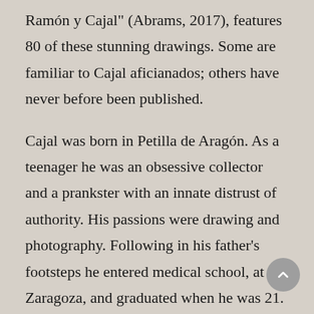Ramón y Cajal" (Abrams, 2017), features 80 of these stunning drawings. Some are familiar to Cajal aficianados; others have never before been published.
Cajal was born in Petilla de Aragón. As a teenager he was an obsessive collector and a prankster with an innate distrust of authority. His passions were drawing and photography. Following in his father's footsteps he entered medical school, at Zaragoza, and graduated when he was 21.
During a year of army medical service in Cuba he contracted malaria, leaving him with a